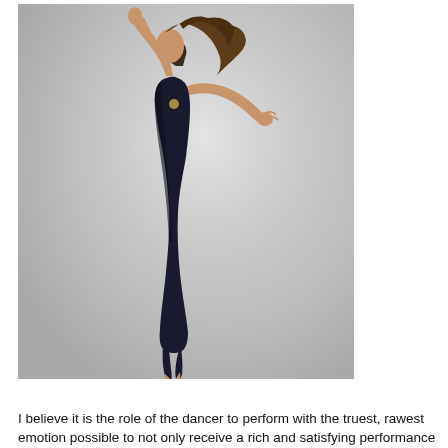[Figure (photo): A female dancer in a black dress leaping gracefully mid-air against a gray background, with one arm raised high and the other extended outward, hair flowing, viewed from the front-side.]
I believe it is the role of the dancer to perform with the truest, rawest emotion possible to not only receive a rich and satisfying performance